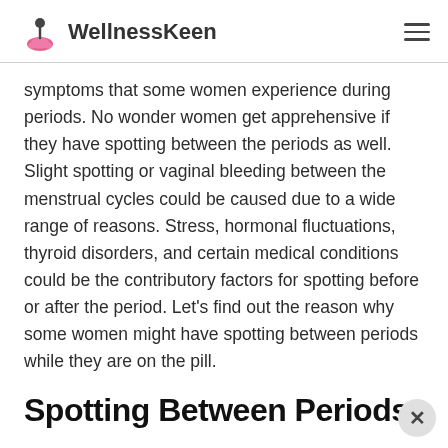WellnessKeen
symptoms that some women experience during periods. No wonder women get apprehensive if they have spotting between the periods as well. Slight spotting or vaginal bleeding between the menstrual cycles could be caused due to a wide range of reasons. Stress, hormonal fluctuations, thyroid disorders, and certain medical conditions could be the contributory factors for spotting before or after the period. Let’s find out the reason why some women might have spotting between periods while they are on the pill.
Spotting Between Periods